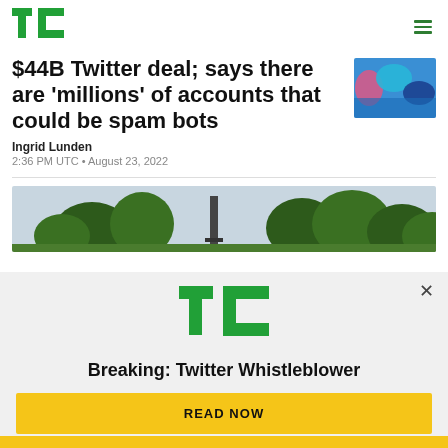TechCrunch logo and navigation
$44B Twitter deal; says there are 'millions' of accounts that could be spam bots
Ingrid Lunden
2:36 PM UTC • August 23, 2022
[Figure (photo): Outdoor landscape photo showing trees and a tall structure against a sky background]
[Figure (logo): TechCrunch TC logo in green]
Breaking: Twitter Whistleblower
READ NOW